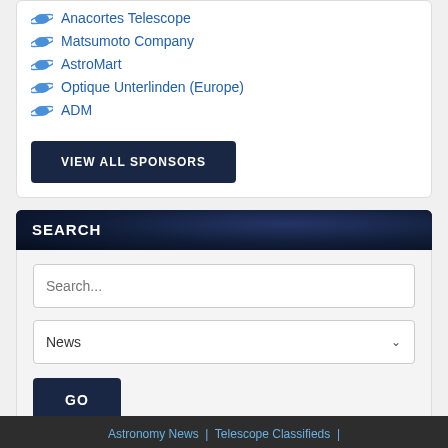Anacortes Telescope
Matsumoto Company
AstroMart
Optique Unterlinden (Europe)
ADM
VIEW ALL SPONSORS
SEARCH
Search...
News
GO
Astronomy News | Telescope Classifieds |